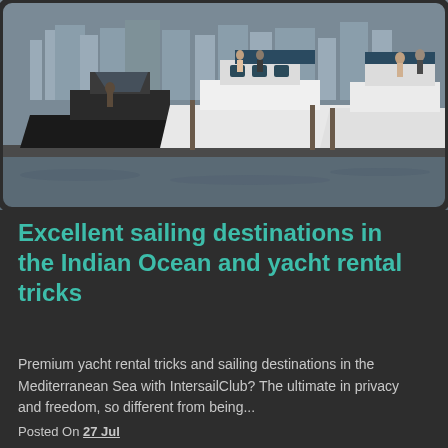[Figure (photo): Luxury yachts moored at a marina with a historic cityscape in the background. Multiple white motorboats visible on grey water.]
Excellent sailing destinations in the Indian Ocean and yacht rental tricks
Premium yacht rental tricks and sailing destinations in the Mediterranean Sea with IntersailClub? The ultimate in privacy and freedom, so different from being...
Posted On 27 Jul